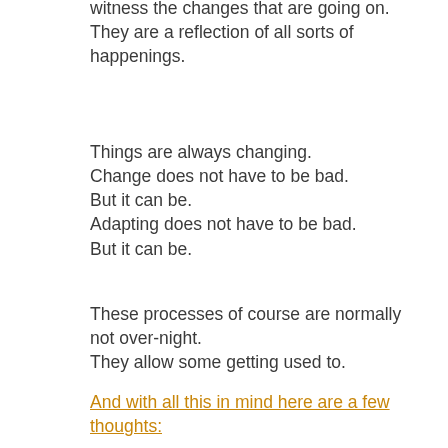witness the changes that are going on.
They are a reflection of all sorts of happenings.
Things are always changing.
Change does not have to be bad.
But it can be.
Adapting does not have to be bad.
But it can be.
These processes of course are normally not over-night.
They allow some getting used to.
And with all this in mind here are a few thoughts: